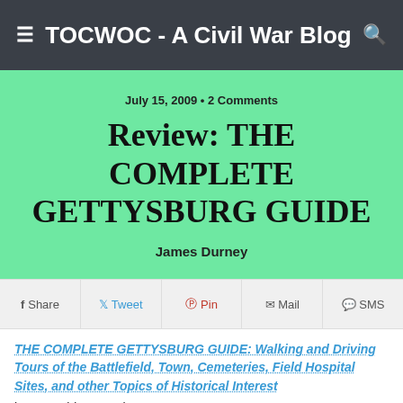TOCWOC - A Civil War Blog
July 15, 2009 • 2 Comments
Review: THE COMPLETE GETTYSBURG GUIDE
James Durney
Share  Tweet  Pin  Mail  SMS
THE COMPLETE GETTYSBURG GUIDE: Walking and Driving Tours of the Battlefield, Town, Cemeteries, Field Hospital Sites, and other Topics of Historical Interest
by J. David Petruzzi